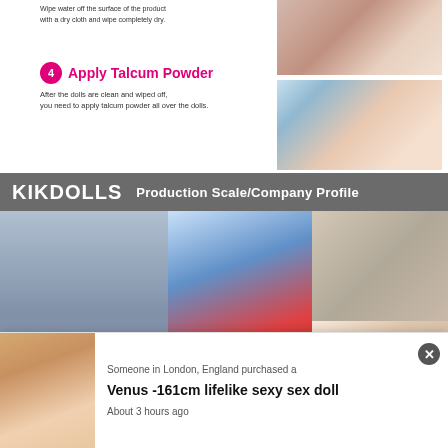Wipe water off the surface of the product with a dry cloth and wipe completely dry.
[Figure (photo): Hand wiping a surface with a white dry cloth]
4 Apply Talcum Powder
After the dolls are clean and wiped off, you need to apply talcum powder all over the dolls.
[Figure (photo): Talcum powder being applied to a skin-colored surface]
[Figure (photo): KIKDOLLS Production Scale/Company Profile - factory and production photos collage]
Someone in London, England purchased a
Venus -161cm lifelike sexy sex doll
About 3 hours ago